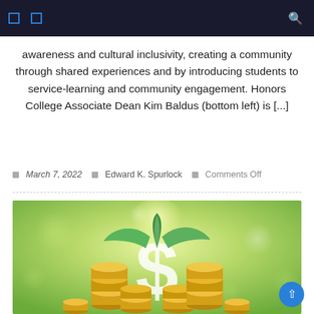Navigation bar with icons
awareness and cultural inclusivity, creating a community through shared experiences and by introducing students to service-learning and community engagement. Honors College Associate Dean Kim Baldus (bottom left) is [...]
March 7, 2022  Edward K. Spurlock  Comments Off
[Figure (photo): Bokeh green background photo with stacks of gold coins and a large white dollar sign with a green plant growing from the top, symbolizing financial growth]